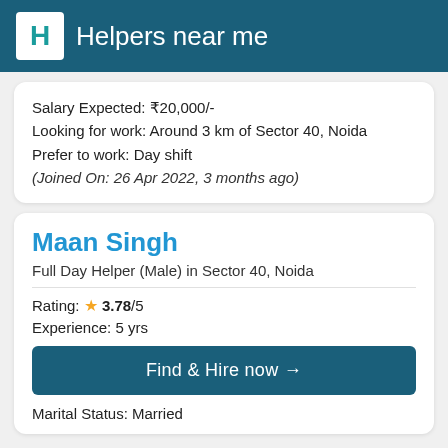Helpers near me
Salary Expected: ₹20,000/-
Looking for work: Around 3 km of Sector 40, Noida
Prefer to work: Day shift
(Joined On: 26 Apr 2022, 3 months ago)
Maan Singh
Full Day Helper (Male) in Sector 40, Noida
Rating: ★ 3.78/5
Experience: 5 yrs
Find & Hire now →
Marital Status: Married